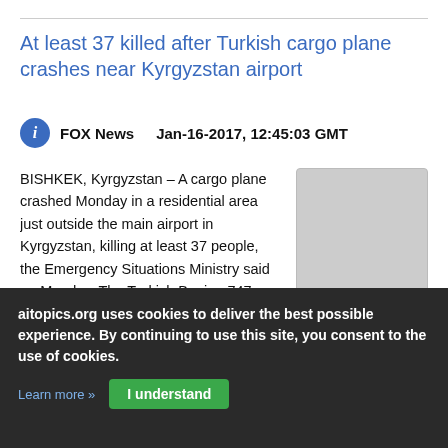At least 37 killed after Turkish cargo plane crashes near Kyrgyzstan airport
FOX News   Jan-16-2017, 12:45:03 GMT
BISHKEK, Kyrgyzstan – A cargo plane crashed Monday in a residential area just outside the main airport in Kyrgyzstan, killing at least 37 people, the Emergency Situations Ministry said on Monday. The Turkish Boeing 747 crashed just outside the Manas airport, south of the capital Bishkek, killing people in the residential area adjacent to the airport as well as those on the plane. Reports of the death toll on Monday ranged from 37 people according to emergency officials in the Central Asian nation, to 31 reported by the
aitopics.org uses cookies to deliver the best possible experience. By continuing to use this site, you consent to the use of cookies.
Learn more »   I understand